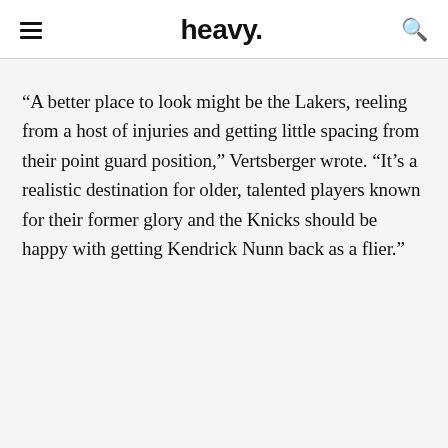heavy.
“A better place to look might be the Lakers, reeling from a host of injuries and getting little spacing from their point guard position,” Vertsberger wrote. “It’s a realistic destination for older, talented players known for their former glory and the Knicks should be happy with getting Kendrick Nunn back as a flier.”